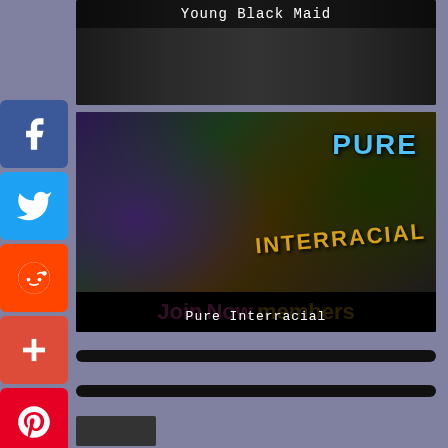[Figure (screenshot): Social media sharing sidebar with Facebook, Twitter, Reddit, Google+, Pinterest, Mail, and More buttons]
[Figure (screenshot): Banner image for 'Young Black Maid' adult website with dark overlay label]
[Figure (screenshot): Banner image for 'Pure Interracial' adult website with Join Now members bar and text label]
[Figure (other): Two black horizontal divider bars and partial banner at bottom]